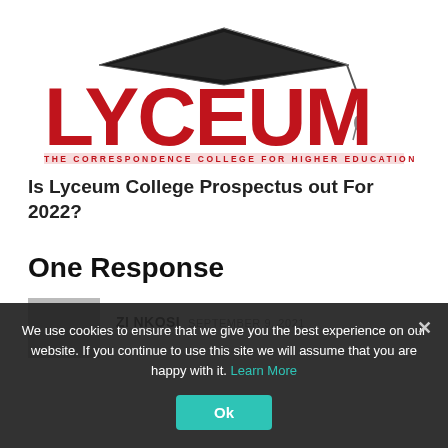[Figure (logo): Lyceum — The Correspondence College for Higher Education logo with graduation cap above large red LYCEUM text and tagline below]
Is Lyceum College Prospectus out For 2022?
One Response
ZI NKOSI  SEPTEMBER 9, 2021
We use cookies to ensure that we give you the best experience on our website. If you continue to use this site we will assume that you are happy with it. Learn More
Ok